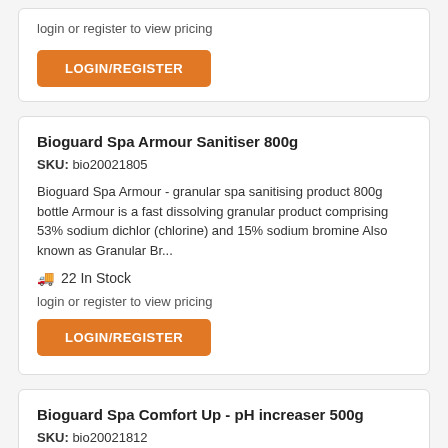login or register to view pricing
LOGIN/REGISTER
Bioguard Spa Armour Sanitiser 800g
SKU: bio20021805
Bioguard Spa Armour - granular spa sanitising product 800g bottle Armour is a fast dissolving granular product comprising 53% sodium dichlor (chlorine) and 15% sodium bromine Also known as Granular Br...
22 In Stock
login or register to view pricing
LOGIN/REGISTER
Bioguard Spa Comfort Up - pH increaser 500g
SKU: bio20021812